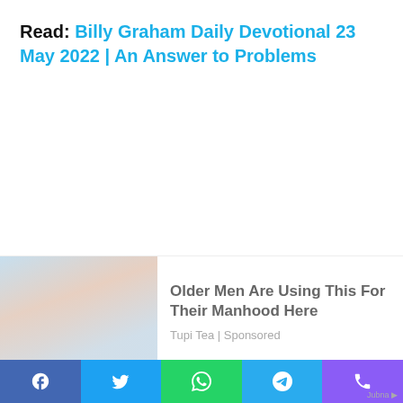Read: Billy Graham Daily Devotional 23 May 2022 | An Answer to Problems
[Figure (other): Advertisement banner with a blurred image of a person and text: Older Men Are Using This For Their Manhood Here. Tupi Tea | Sponsored]
Facebook | Twitter | WhatsApp | Telegram | Phone share buttons